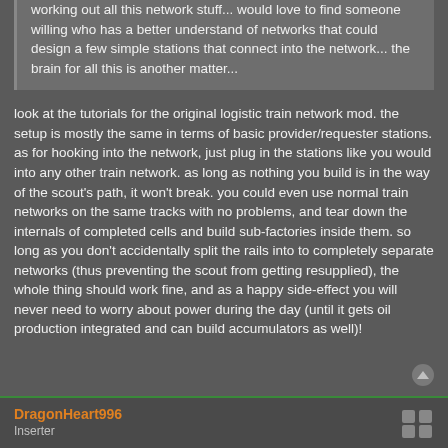working out all this network stuff... would love to find someone willing who has a better understand of networks that could design a few simple stations that connect into the network... the brain for all this is another matter...
look at the tutorials for the original logistic train network mod. the setup is mostly the same in terms of basic provider/requester stations. as for hooking into the network, just plug in the stations like you would into any other train network. as long as nothing you build is in the way of the scout's path, it won't break. you could even use normal train networks on the same tracks with no problems, and tear down the internals of completed cells and build sub-factories inside them. so long as you don't accidentally split the rails into to completely separate networks (thus preventing the scout from getting resupplied), the whole thing should work fine, and as a happy side-effect you will never need to worry about power during the day (until it gets oil production integrated and can build accumulators as well)!
DragonHeart996
Inserter